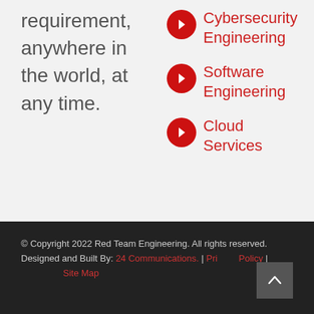requirement, anywhere in the world, at any time.
Cybersecurity Engineering
Software Engineering
Cloud Services
© Copyright 2022 Red Team Engineering. All rights reserved. Designed and Built By: 24 Communications. | Privacy Policy | Site Map